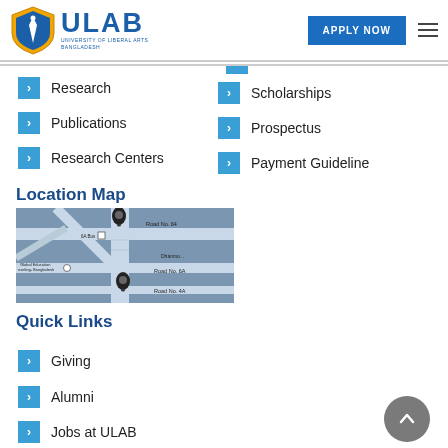[Figure (logo): ULAB University of Liberal Arts Bangladesh logo with shield icon]
Research
Publications
Research Centers
Scholarships
Prospectus
Payment Guideline
Location Map
[Figure (map): Google Maps screenshot showing ULAB campus location in Dhanmondi area, Dhaka, Bangladesh. Shows roads including Road No. 64, Road No. 6A, Road No. 4A, and nearby Global Education Counseling Bangladesh.]
Quick Links
Giving
Alumni
Jobs at ULAB